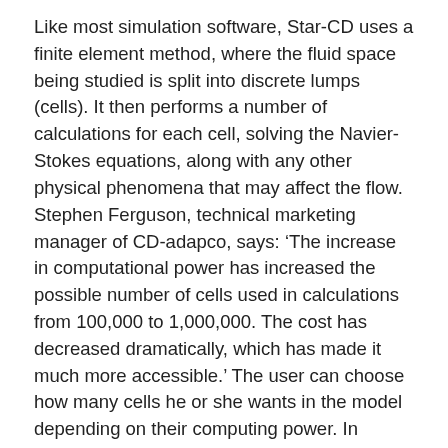Like most simulation software, Star-CD uses a finite element method, where the fluid space being studied is split into discrete lumps (cells). It then performs a number of calculations for each cell, solving the Navier-Stokes equations, along with any other physical phenomena that may affect the flow. Stephen Ferguson, technical marketing manager of CD-adapco, says: ‘The increase in computational power has increased the possible number of cells used in calculations from 100,000 to 1,000,000. The cost has decreased dramatically, which has made it much more accessible.’ The user can choose how many cells he or she wants in the model depending on their computing power. In general, a greater number of cells give a better answer.
Typical of key development in recent years, Star-CD can now be integrated within the CAD environment of Star-CAD. It is now possible to run simulations while designing components within the CAD software, and then analyse the results and look for changes such as pressure drops. In this way, all of the major work is completed once, and then additional trials can be